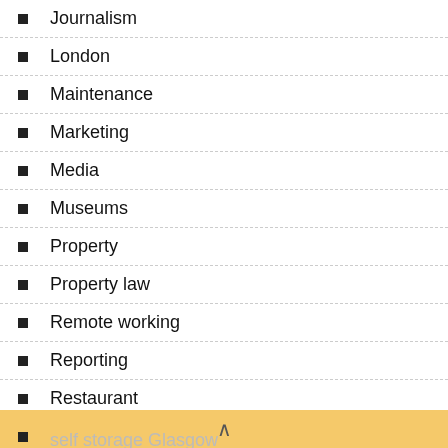Journalism
London
Maintenance
Marketing
Media
Museums
Property
Property law
Remote working
Reporting
Restaurant
Review
Scotland
self storage Glasgow